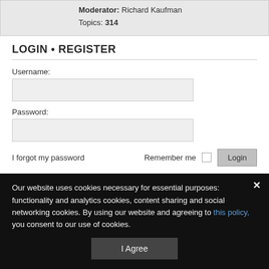Moderator: Richard Kaufman
Topics: 314
LOGIN • REGISTER
Username:
Password:
I forgot my password    Remember me  [checkbox]  Login
STATISTICS
Total posts 360950 • Total topics 51357 • Total members 9592 • Our newest
Our website uses cookies necessary for essential purposes: functionality and analytics cookies, content sharing and social networking cookies. By using our website and agreeing to this policy, you consent to our use of cookies.
I Agree